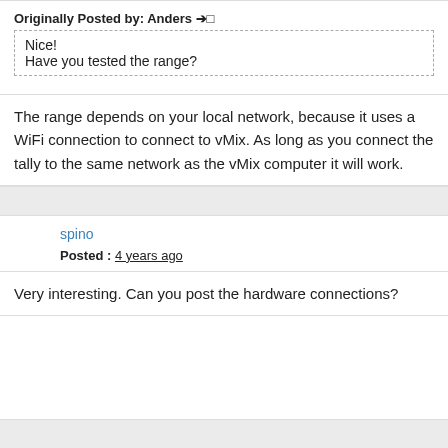Originally Posted by: Anders ➔□
Nice!
Have you tested the range?
The range depends on your local network, because it uses a WiFi connection to connect to vMix. As long as you connect the tally to the same network as the vMix computer it will work.
spino
Posted : 4 years ago
Very interesting. Can you post the hardware connections?